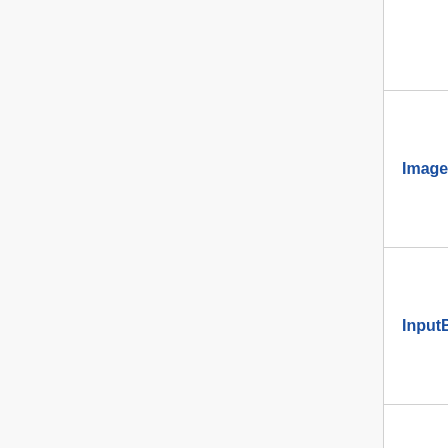| Extension | Latest version |
| --- | --- |
| ImageMap | – |
| InputBox | 0.3.0 |
| MultiMaps | 0.7.3 (e795... 16:09, 23 J... |
| Poem | – |
|  |  |